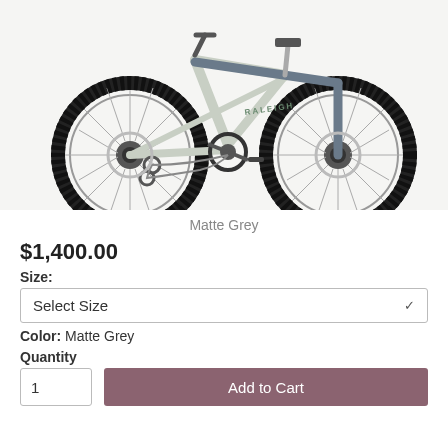[Figure (photo): Mountain bike in matte grey color, side profile view showing full frame, two wheels with knobby tires, drivetrain components, disc brakes, and front fork.]
Matte Grey
$1,400.00
Size:
Select Size
Color:  Matte Grey
Quantity
1
Add to Cart